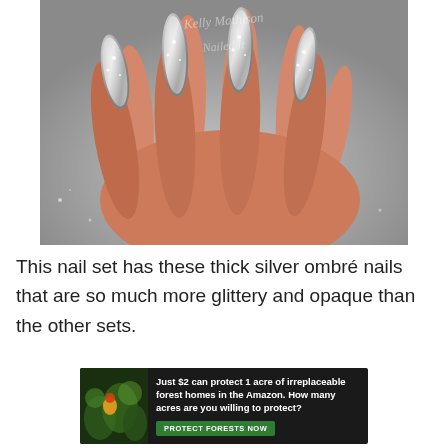[Figure (photo): Close-up photo of hands with long stiletto-shaped silver glitter ombré acrylic nails on a glittery silver background. A watermark reads 'Kelly Mathison Nailed It' in cursive.]
This nail set has these thick silver ombré nails that are so much more glittery and opaque than the other sets.
[Figure (photo): Advertisement banner with dark background showing a forest/nature image on the left and text: 'Just $2 can protect 1 acre of irreplaceable forest homes in the Amazon. How many acres are you willing to protect?' with a green button reading 'PROTECT FORESTS NOW'.]